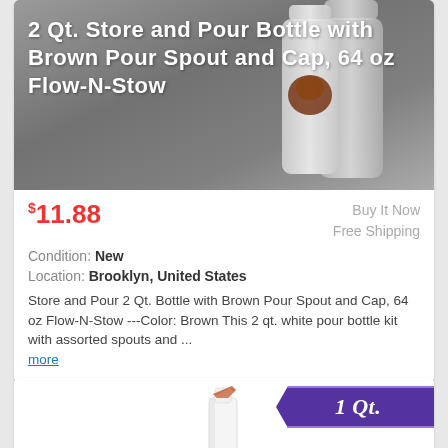[Figure (photo): Product photo of a white 2 Qt. store and pour bottle with a brown pour spout and cap on a gray background]
2 Qt. Store and Pour Bottle with Brown Pour Spout and Cap, 64 oz Flow-N-Stow
$11.88
Buy It Now
Free Shipping
Condition: New
Location: Brooklyn, United States
Store and Pour 2 Qt. Bottle with Brown Pour Spout and Cap, 64 oz Flow-N-Stow ---Color: Brown This 2 qt. white pour bottle kit with assorted spouts and ... more
[Figure (photo): Product photo of a 1 Qt. white pour bottle with a copper/rose gold pour spout tip, with a purple banner showing '1 Qt.']